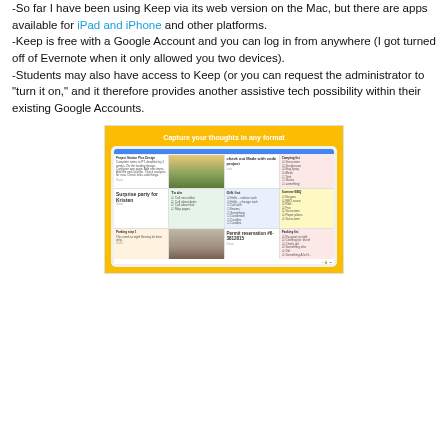-So far I have been using Keep via its web version on the Mac, but there are apps available for iPad and iPhone and other platforms.
-Keep is free with a Google Account and you can log in from anywhere (I got turned off of Evernote when it only allowed you two devices).
-Students may also have access to Keep (or you can request the administrator to "turn it on," and it therefore provides another assistive tech possibility within their existing Google Accounts.
[Figure (screenshot): Screenshot of Google Keep app showing a tablet interface with colorful note cards on a yellow background. The header reads 'Capture your thoughts in any format'. Notes include: 'Surprise party for Kristen', 'check out Made with code project', 'Permit reservation #6-3812815', and various other colored note cards with lists and images.]